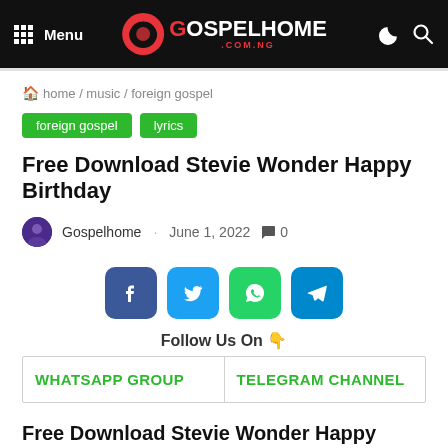Menu | GOSPELHOME.COM.NG
home / music / foreign gospel
foreign gospel
lyrics
Free Download Stevie Wonder Happy Birthday
Gospelhome · June 1, 2022  0
[Figure (infographic): Social share buttons: Facebook, Twitter, WhatsApp, Telegram]
Follow Us On 👇
| WHATSAPP GROUP | TELEGRAM CHANNEL |
Free Download Stevie Wonder Happy Birthday